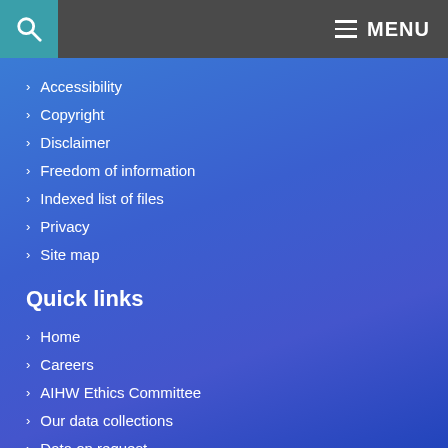MENU
Accessibility
Copyright
Disclaimer
Freedom of information
Indexed list of files
Privacy
Site map
Quick links
Home
Careers
AIHW Ethics Committee
Our data collections
Data on request
Data linkage
Login